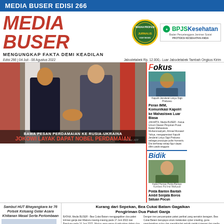MEDIA BUSER EDISI 266
MEDIA BUSER
MENGUNGKAP FAKTA DEMI KEADILAN
Edisi 266 | 04 Juli - 08 Agustus 2022   Jabodetabek Rp. 12.000,- Luar Jabodetabek Tambah Ongkos Kirim
[Figure (photo): Two leaders shaking hands in front of Indonesian and Russian flags]
BAWA PESAN PERDAMAIAN KE RUSIA-UKRAINA
JOKOWI LAYAK DAPAT NOBEL PERDAMAIAN
Fokus
[Figure (photo): Portrait of Kapolri Jenderal Listyo Sigit Prabowo]
Kapolri Jenderal Listyo Sigit Prabowo
Peran IMM, Komunikasi Kapolri ke Mahasiswa Luar Biasa
JAKARTA, Media BUSER - Ketua Umum Dewan Pimpinan Pusat Ikatan Mahasiswa Muhammadiyah, Ahmad Munawir Yahya, mengapresiasi Kapolri Jenderal Listyo Sigit Prabowo sebagai prototype polisi humanis. Dia berharap setiap figur dapat ditiru anggota
Bidik
[Figure (photo): Portrait of military/police officer]
Kabid Humas Polda Banten Kombes Pol Irwi Wahyudi
Polda Banten Bantah Ambil Senjata Boros Satuan Pocun
Sambut HUT Bhayangkara ke 76 Polsek Keluang Gelar Acara Khitanan Masal Serta Perlombaan
[Figure (photo): Community event photo with people seated at tables]
Kurang dari Sepekan, Bea Cukai Batam Gagalkan Pengiriman Dua Paket Ganja
BATAM, Media BUSER - Bea Cukai Batam menggagalkan dua paket kiriman ganja dan Madura masing-masing pada 17 Juni 2022 dan Bandung pada 16 Juni 2022. Modus yang sama di gabungan dalam dua kiriman dengan cara memasukkan ganja dalam paket barang kiriman. Melalui sinergi dengan Direktorat Jenderal Narkonko, Kantor Pengiriman, ada Salman...
Dengan tren penyampaian paket partikel yang semakin beragam, Bea Cukai Batam berupaya untuk melakukan cyber crawling, guna mendapat polun dan menghindari pelotik melalui internet dan media sosial. Kewaspadaan juga ditingkatkan melalui cyber crawling. Bea Cukai Batam dalam operasi dapatkan dari dokumen dan kewajiban dalam informasi dalam menggagalkan penyebab...